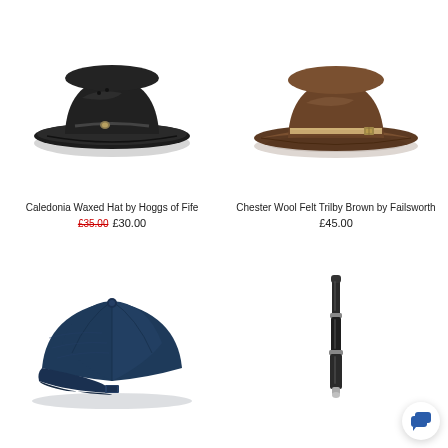[Figure (photo): Dark waxed wide-brim hat (Caledonia Waxed Hat by Hoggs of Fife), viewed from front-left angle]
Caledonia Waxed Hat by Hoggs of Fife
£35.00 £30.00
[Figure (photo): Brown wool felt trilby hat with tan band and buckle (Chester Wool Felt Trilby Brown by Failsworth), viewed from front-right angle]
Chester Wool Felt Trilby Brown by Failsworth
£45.00
[Figure (photo): Navy blue wool baker boy / newsboy cap, viewed from front-left angle]
[Figure (photo): Telescopic black walking stick / shooting stick, vertical orientation, with chat button overlay]